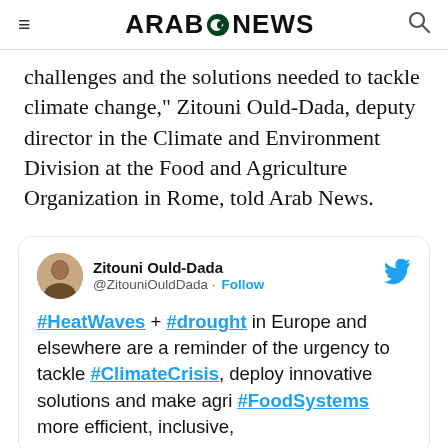ARAB NEWS
challenges and the solutions needed to tackle climate change," Zitouni Ould-Dada, deputy director in the Climate and Environment Division at the Food and Agriculture Organization in Rome, told Arab News.
[Figure (screenshot): Embedded tweet by Zitouni Ould-Dada (@ZitouniOuldDada) with Follow button and Twitter bird icon. Tweet text: #HeatWaves + #drought in Europe and elsewhere are a reminder of the urgency to tackle #ClimateCrisis, deploy innovative solutions and make agri #FoodSystems more efficient, inclusive,]